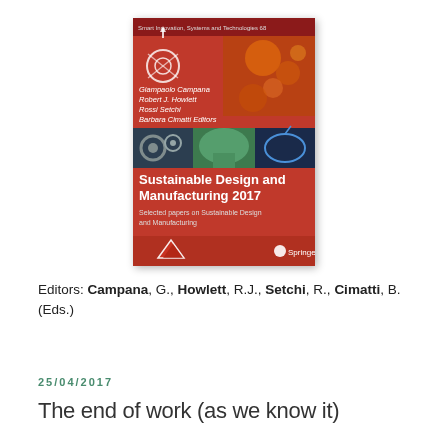[Figure (illustration): Book cover of 'Sustainable Design and Manufacturing 2017' published by Springer, part of Smart Innovation Systems and Technologies series. Red cover with editors Giampaolo Campana, Robert J. Howlett, Rossi Setchi, Barbara Cimatti. Features technical images of machinery, architecture and satellite dish.]
Editors: Campana, G., Howlett, R.J., Setchi, R., Cimatti, B. (Eds.)
25/04/2017
The end of work (as we know it)